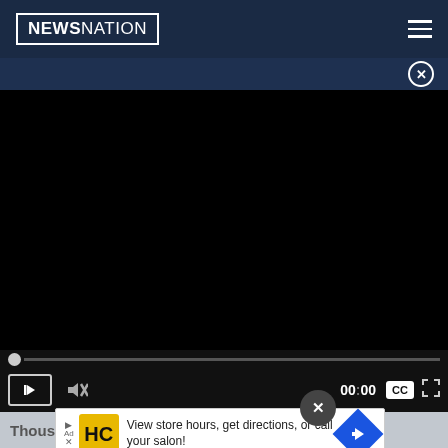[Figure (screenshot): NewsNation website screenshot showing navigation bar with logo, video player (black/empty), video controls bar with play, mute, time 00:00, CC and fullscreen buttons, an advertisement banner for a hair salon, and a partial article headline.]
Thousands of Ashburn Seniors Are Getting